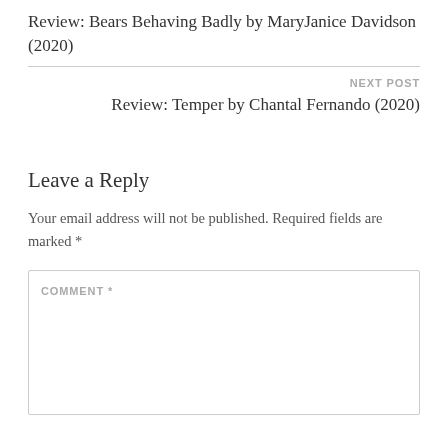Review: Bears Behaving Badly by MaryJanice Davidson (2020)
NEXT POST
Review: Temper by Chantal Fernando (2020)
Leave a Reply
Your email address will not be published. Required fields are marked *
COMMENT *